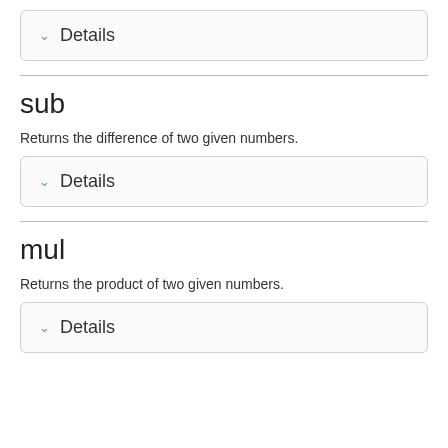Details
sub
Returns the difference of two given numbers.
Details
mul
Returns the product of two given numbers.
Details